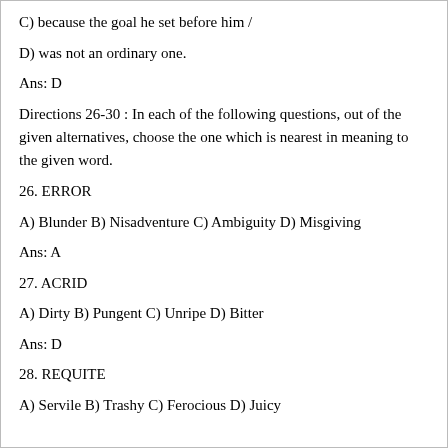C) because the goal he set before him /
D) was not an ordinary one.
Ans: D
Directions 26-30 : In each of the following questions, out of the given alternatives, choose the one which is nearest in meaning to the given word.
26. ERROR
A) Blunder B) Nisadventure C) Ambiguity D) Misgiving
Ans: A
27. ACRID
A) Dirty B) Pungent C) Unripe D) Bitter
Ans: D
28. REQUITE
A) Servile B) Trashy C) Ferocious D) Juicy